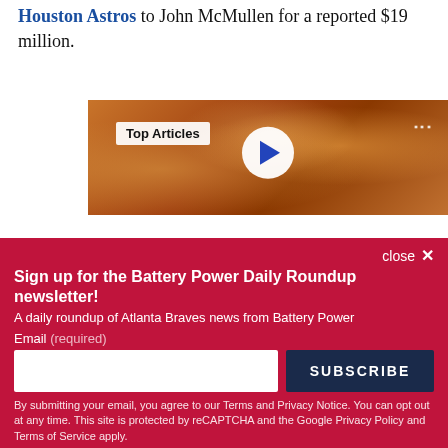to John McMullen for a reported $19 million.
[Figure (screenshot): Video player showing crowd scene with 'Top Articles' badge and play button overlay]
close ×
Sign up for the Battery Power Daily Roundup newsletter!
A daily roundup of Atlanta Braves news from Battery Power
Email (required)
SUBSCRIBE
By submitting your email, you agree to our Terms and Privacy Notice. You can opt out at any time. This site is protected by reCAPTCHA and the Google Privacy Policy and Terms of Service apply.